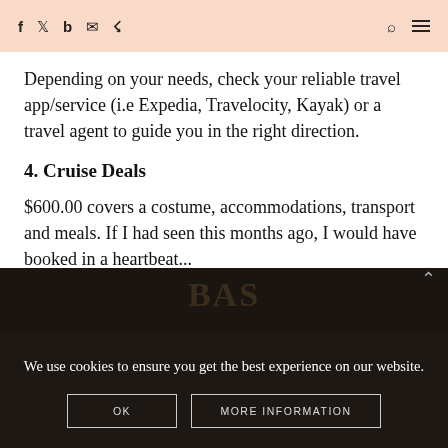f  b  [mail]  [rss]   [search]  [menu]
Depending on your needs, check your reliable travel app/service (i.e Expedia, Travelocity, Kayak) or a travel agent to guide you in the right direction.
4. Cruise Deals
$600.00 covers a costume, accommodations, transport and meals. If I had seen this months ago, I would have booked in a heartbeat...
We use cookies to ensure you get the best experience on our website.
OK   MORE INFORMATION